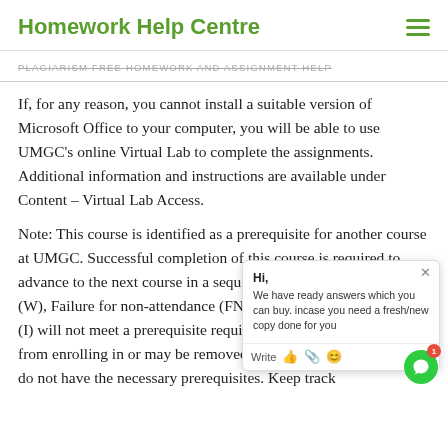Homework Help Centre
PLAGIARISM FREE HOMEWORK AND ASSIGNMENT HELP
If, for any reason, you cannot install a suitable version of Microsoft Office to your computer, you will be able to use UMGC's online Virtual Lab to complete the assignments.  Additional information and instructions are available under Content – Virtual Lab Access.
Note: This course is identified as a prerequisite for another course at UMGC. Successful completion of this course is required to advance to the next course in a sequence. A grade of Withdrawal (W), Failure for non-attendance (FN), Failure (F), or Incomplete (I) will not meet a prerequisite requirement and you will be barred from enrolling in or may be removed from courses for which you do not have the necessary prerequisites. Keep track
[Figure (screenshot): Chat popup overlay with message: Hi, We have ready answers which you can buy. incase you need a fresh/new copy done for you. With Write, thumbs up, paperclip, and smiley icons at the bottom.]